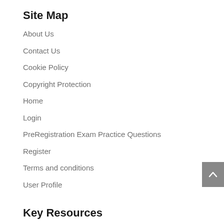Site Map
About Us
Contact Us
Cookie Policy
Copyright Protection
Home
Login
PreRegistration Exam Practice Questions
Register
Terms and conditions
User Profile
Key Resources
Community Pharmacy: Symptoms, Diagnosis and Treatment